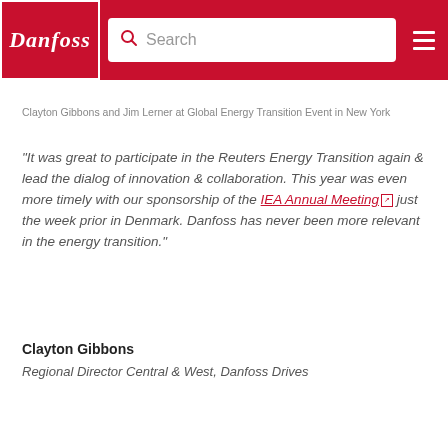Danfoss | Search
Clayton Gibbons and Jim Lerner at Global Energy Transition Event in New York
"It was great to participate in the Reuters Energy Transition again & lead the dialog of innovation & collaboration. This year was even more timely with our sponsorship of the IEA Annual Meeting just the week prior in Denmark. Danfoss has never been more relevant in the energy transition."
Clayton Gibbons
Regional Director Central & West, Danfoss Drives